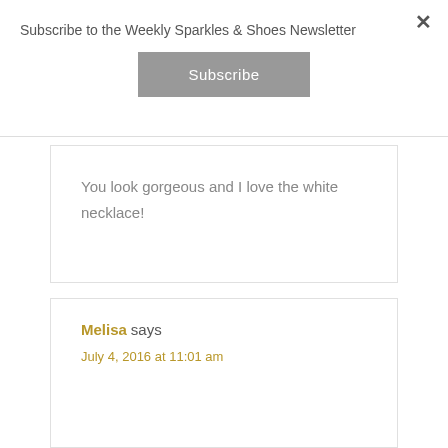Subscribe to the Weekly Sparkles & Shoes Newsletter
Subscribe
You look gorgeous and I love the white necklace!
Melisa says
July 4, 2016 at 11:01 am